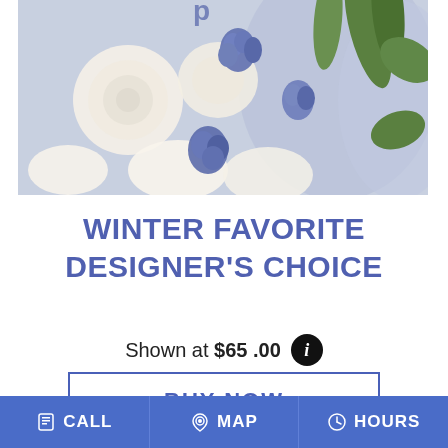[Figure (photo): Close-up photograph of a flower arrangement featuring white roses, white carnations, and purple/blue delphinium flowers with green leaves against a light lavender background.]
WINTER FAVORITE DESIGNER'S CHOICE
Shown at $65.00
BUY NOW
CALL  MAP  HOURS